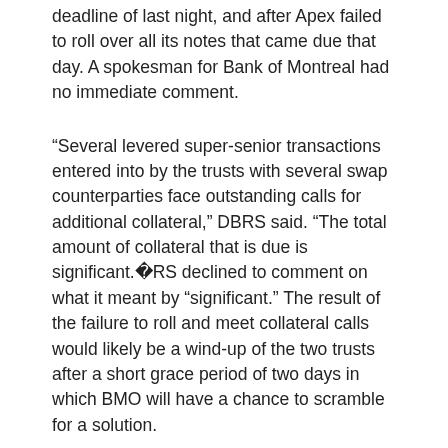deadline of last night, and after Apex failed to roll over all its notes that came due that day. A spokesman for Bank of Montreal had no immediate comment.
“Several levered super-senior transactions entered into by the trusts with several swap counterparties face outstanding calls for additional collateral,” DBRS said. “The total amount of collateral that is due is significant.”DBRS declined to comment on what it meant by “significant.” The result of the failure to roll and meet collateral calls would likely be a wind-up of the two trusts after a short grace period of two days in which BMO will have a chance to scramble for a solution.
If one isn't found, BMO warned last week that it could end up writing off its $495-million net exposure to the trusts. That would be in addition to $210-million in losses the bank has already booked resulting from the trusts. Normally, the